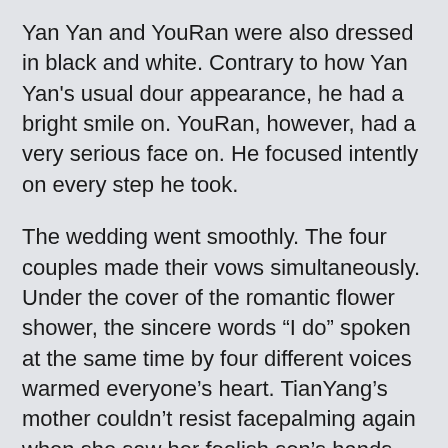Yan Yan and YouRan were also dressed in black and white. Contrary to how Yan Yan's usual dour appearance, he had a bright smile on. YouRan, however, had a very serious face on. He focused intently on every step he took.
The wedding went smoothly. The four couples made their vows simultaneously. Under the cover of the romantic flower shower, the sincere words “I do” spoken at the same time by four different voices warmed everyone’s heart. TianYang’s mother couldn’t resist facepalming again when she saw her foolish son’s hands fumbling and trembling during the ring exchange.
JingYuan solemnly slid the ring carved with the initials of their names onto YiHan’s ring finger.
“HanHan, I love you,” he whispered as he gently